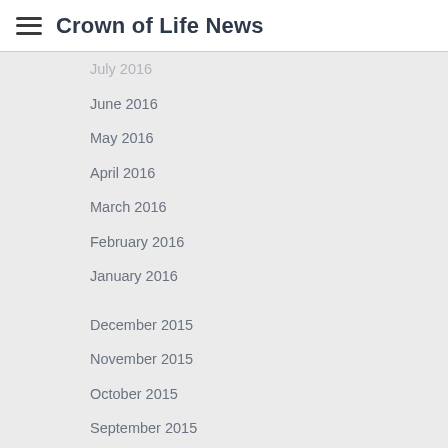Crown of Life News
July 2016
June 2016
May 2016
April 2016
March 2016
February 2016
January 2016
December 2015
November 2015
October 2015
September 2015
August 2015
July 2015
June 2015
May 2015
April 2015